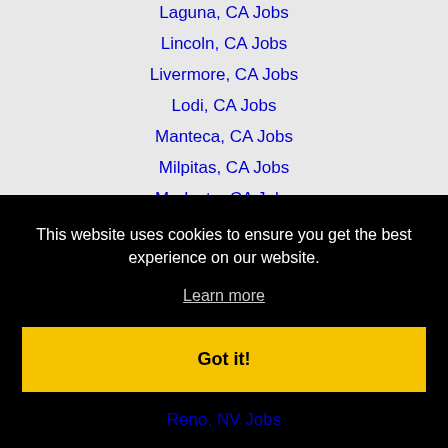Laguna, CA Jobs
Lincoln, CA Jobs
Livermore, CA Jobs
Lodi, CA Jobs
Manteca, CA Jobs
Milpitas, CA Jobs
Modesto, CA Jobs
Napa, CA Jobs
Newark, CA Jobs
North Highlands, CA J... (partially visible)
This website uses cookies to ensure you get the best experience on our website.
Learn more
Got it!
Reno, NV Jobs